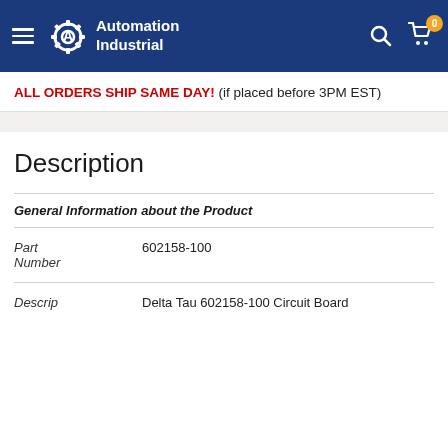Automation Industrial
ALL ORDERS SHIP SAME DAY! (if placed before 3PM EST)
Description
| Field | Value |
| --- | --- |
| General Information about the Product |  |
| Part Number | 602158-100 |
| Descrip | Delta Tau 602158-100 Circuit Board |